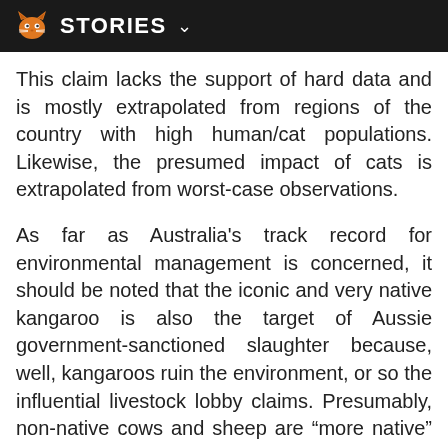STORIES
This claim lacks the support of hard data and is mostly extrapolated from regions of the country with high human/cat populations. Likewise, the presumed impact of cats is extrapolated from worst-case observations.
As far as Australia's track record for environmental management is concerned, it should be noted that the iconic and very native kangaroo is also the target of Aussie government-sanctioned slaughter because, well, kangaroos ruin the environment, or so the influential livestock lobby claims. Presumably, non-native cows and sheep are “more native” than cats, and their huge and degrading environmental impact is more tolerable.